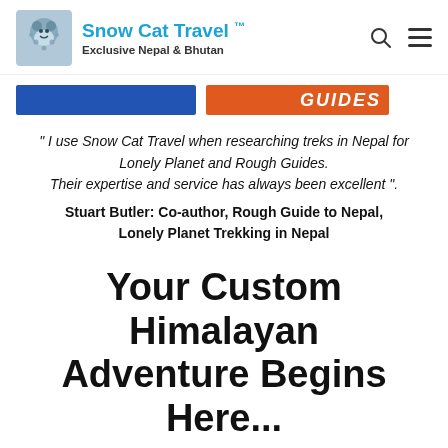Snow Cat Travel ™ Exclusive Nepal & Bhutan
[Figure (other): Navigation bar with a blue button and an orange button partially showing 'GUIDES' text]
" I use Snow Cat Travel when researching treks in Nepal for Lonely Planet and Rough Guides. Their expertise and service has always been excellent ". Stuart Butler: Co-author, Rough Guide to Nepal, Lonely Planet Trekking in Nepal
Your Custom Himalayan Adventure Begins Here...
Most Popular